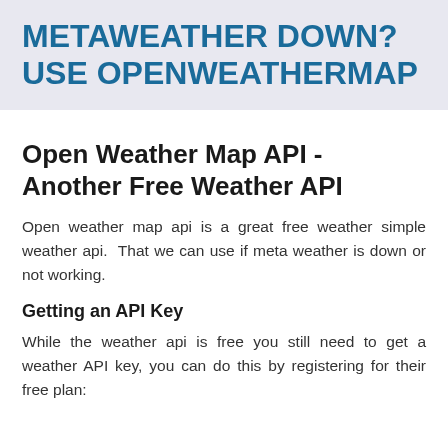METAWEATHER DOWN?  USE OPENWEATHERMAP
Open Weather Map API - Another Free Weather API
Open weather map api is a great free weather simple weather api.  That we can use if meta weather is down or not working.
Getting an API Key
While the weather api is free you still need to get a weather API key, you can do this by registering for their free plan: